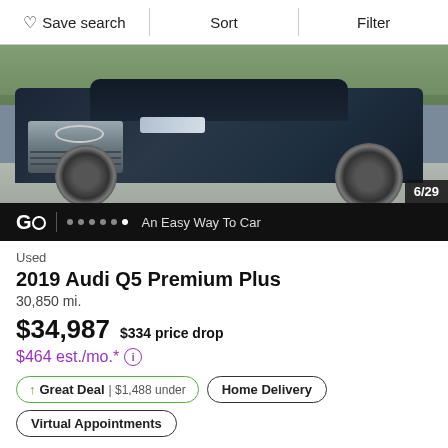Save search | Sort | Filter
[Figure (photo): Front/side view of a 2019 Audi Q5 Premium Plus in dark navy/black, parked on a driveway with greenery in background. CarGurus logo bar at bottom showing 6/29 photo count and 'An Easy Way To Car' tagline.]
Used
2019 Audi Q5 Premium Plus
30,850 mi.
$34,987  $334 price drop
$464 est./mo.* ⓘ
↑ Great Deal | $1,488 under
Home Delivery
Virtual Appointments